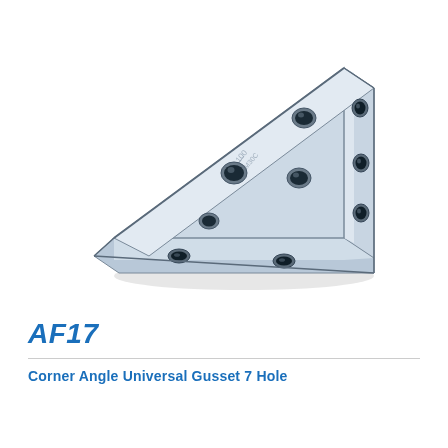[Figure (photo): A galvanized steel corner angle universal gusset bracket with 7 holes — triangular gusset plate with two perpendicular flanges, zinc-plated silver finish, showing multiple circular mounting holes on all faces.]
AF17
Corner Angle Universal Gusset 7 Hole